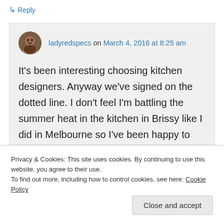↳ Reply
ladyredspecs on March 4, 2016 at 8:25 am
It's been interesting choosing kitchen designers. Anyway we've signed on the dotted line. I don't feel I'm battling the summer heat in the kitchen in Brissy like I did in Melbourne so I've been happy to keep cooking.
Privacy & Cookies: This site uses cookies. By continuing to use this website, you agree to their use.
To find out more, including how to control cookies, see here: Cookie Policy
Close and accept